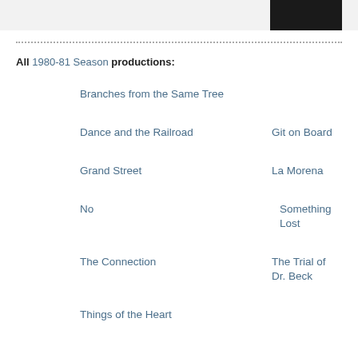[Figure (photo): Dark photograph in top right corner]
All 1980-81 Season productions:
Branches from the Same Tree
Dance and the Railroad
Git on Board
Grand Street
La Morena
No
Something Lost
The Connection
The Trial of Dr. Beck
Things of the Heart